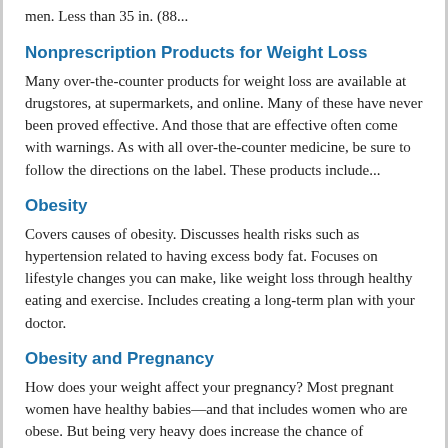men. Less than 35 in. (88...
Nonprescription Products for Weight Loss
Many over-the-counter products for weight loss are available at drugstores, at supermarkets, and online. Many of these have never been proved effective. And those that are effective often come with warnings. As with all over-the-counter medicine, be sure to follow the directions on the label. These products include...
Obesity
Covers causes of obesity. Discusses health risks such as hypertension related to having excess body fat. Focuses on lifestyle changes you can make, like weight loss through healthy eating and exercise. Includes creating a long-term plan with your doctor.
Obesity and Pregnancy
How does your weight affect your pregnancy? Most pregnant women have healthy babies—and that includes women who are obese. But being very heavy does increase the chance of problems. Babies born to mothers who are obese have a higher risk of: Birth defects, such as a heart defect or neural tube defects. Being too large...